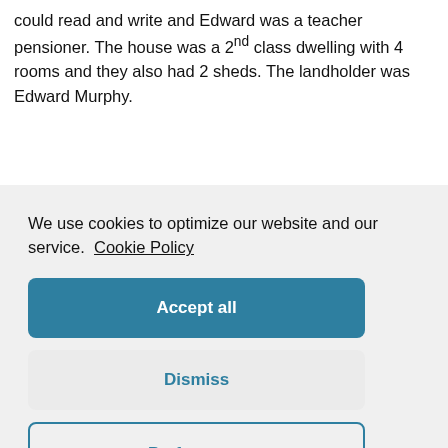could read and write and Edward was a teacher pensioner. The house was a 2nd class dwelling with 4 rooms and they also had 2 sheds. The landholder was Edward Murphy.
We use cookies to optimize our website and our service. Cookie Policy
Accept all
Dismiss
Preferences